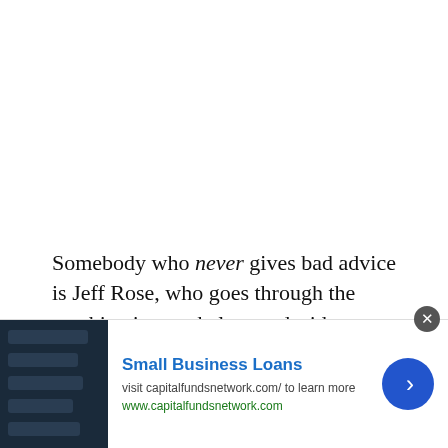Somebody who never gives bad advice is Jeff Rose, who goes through the machinations to help you decide whether a 15- or 30-year mortgage is best for you. ◆ I am happy to see that Jeff and I decided to follow the same mortgage strategy – for the exact same reasons too.
FMF presents The Ten Worst Money Mistakes Anyone Can Make posted at Free Money Finance saying, "If you
[Figure (other): Advertisement banner for Small Business Loans from capitalfundsnetwork.com, with a dark blue image of a business application interface on the left, ad title 'Small Business Loans' in blue, visit text, URL www.capitalfundsnetwork.com in green, and a blue circular arrow button on the right.]